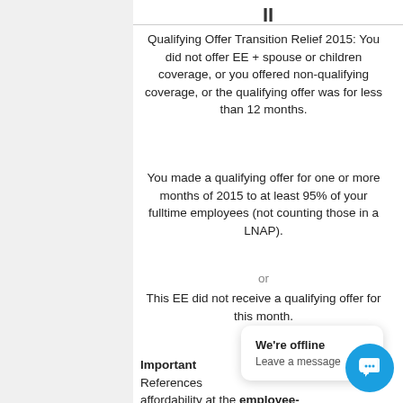II
Qualifying Offer Transition Relief 2015: You did not offer EE + spouse or children coverage, or you offered non-qualifying coverage, or the qualifying offer was for less than 12 months.
You made a qualifying offer for one or more months of 2015 to at least 95% of your fulltime employees (not counting those in a LNAP).
or
This EE did not receive a qualifying offer for this month.
Important References affordability at the employee-only